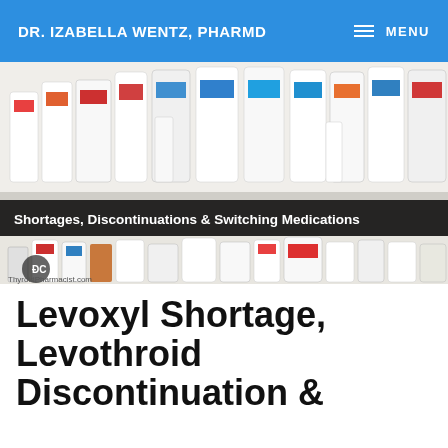DR. IZABELLA WENTZ, PHARMD   MENU
[Figure (photo): Pharmacy shelves with multiple medication bottles and containers. A dark banner overlay reads 'Shortages, Discontinuations & Switching Medications'. Bottom half shows more medicine bottles. ThyroidPharmacist.com watermark visible.]
Levoxyl Shortage, Levothroid Discontinuation &